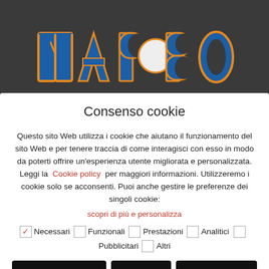[Figure (logo): Colorful logo with blue and orange stylized text on dark background]
Consenso cookie
Questo sito Web utilizza i cookie che aiutano il funzionamento del sito Web e per tenere traccia di come interagisci con esso in modo da poterti offrire un'esperienza utente migliorata e personalizzata. Leggi la Cookie policy per maggiori informazioni. Utilizzeremo i cookie solo se acconsenti. Puoi anche gestire le preferenze dei singoli cookie:
scopri di più e personalizza
Necessari  Funzionali  Prestazioni  Analitici  Pubblicitari  Altri
Accetta solo i selezionati  Rifiuta  Accetta tutti